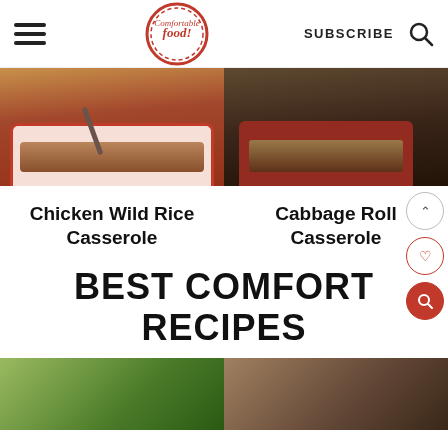Comfortable Food — SUBSCRIBE
[Figure (photo): Two food photos side by side: left shows a white and red casserole dish with chicken wild rice casserole and a spoon; right shows a red casserole dish with cabbage roll casserole on a wooden surface]
Chicken Wild Rice Casserole
Cabbage Roll Casserole
BEST COMFORT RECIPES
[Figure (photo): Two food photos partially visible at the bottom: left shows a green salad or vegetable dish, right shows a meat or chicken dish]